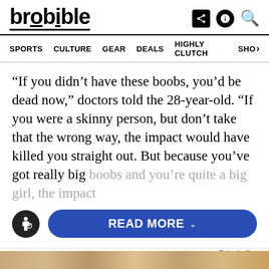brobible — SPORTS  CULTURE  GEAR  DEALS  HIGHLY CLUTCH  SHOP
“If you didn’t have these boobs, you’d be dead now,” doctors told the 28-year-old. “If you were a skinny person, but don’t take that the wrong way, the impact would have killed you straight out. But because you’ve got really big boobs and you’re quite a big girl, the impact
READ MORE